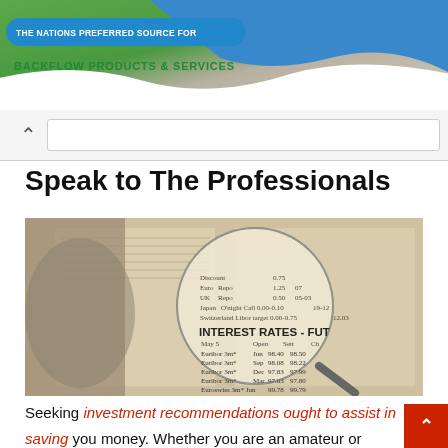[Figure (screenshot): Banner advertisement for Test Gauge Inc. backflow products and services with blue pill-shaped header and green shop today button]
[Figure (photo): Newspaper financial page under magnifying glass showing interest rates futures table with Euribor and Euroswiss entries]
Speak to The Professionals
Seeking investment recommendations ought to assist in saving you money. Whether you are an amateur or experienced investor, investment advisors can offer you expert guidance on making investments that first-class fit